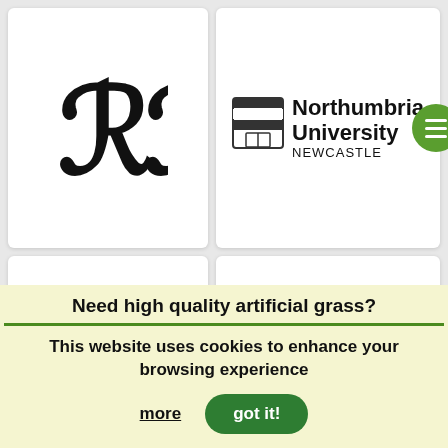[Figure (logo): Rolls-Royce RR monogram logo in black serif font]
[Figure (logo): Northumbria University Newcastle logo with shield icon and bold text]
[Figure (logo): Newcastle University logo with blue shield crest and blue text]
[Figure (logo): Newcastle City Council logo with stylized text and castle illustration]
Need high quality artificial grass?
This website uses cookies to enhance your browsing experience
more
got it!